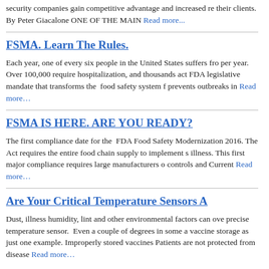security companies gain competitive advantage and increased re their clients. By Peter Giacalone ONE OF THE MAIN Read more…
FSMA. Learn The Rules.
Each year, one of every six people in the United States suffers fro per year. Over 100,000 require hospitalization, and thousands act FDA legislative mandate that transforms the food safety system f prevents outbreaks in Read more…
FSMA IS HERE. ARE YOU READY?
The first compliance date for the FDA Food Safety Modernization 2016. The Act requires the entire food chain supply to implement s illness. This first major compliance requires large manufacturers o controls and Current Read more…
Are Your Critical Temperature Sensors A
Dust, illness humidity, lint and other environmental factors can ove precise temperature sensor. Even a couple of degrees in some a vaccine storage as just one example. Improperly stored vaccines Patients are not protected from disease Read more…